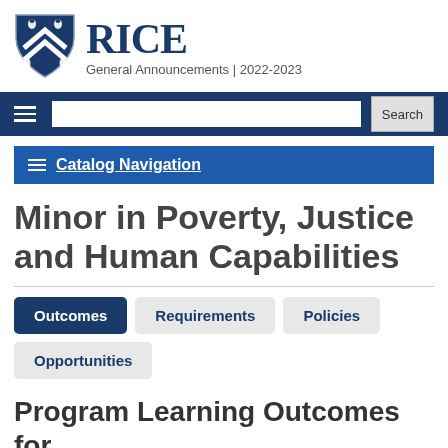[Figure (logo): Rice University shield logo with owls and chevron pattern in navy blue and white]
RICE
General Announcements | 2022-2023
Catalog Navigation
Minor in Poverty, Justice and Human Capabilities
Outcomes | Requirements | Policies | Opportunities
Program Learning Outcomes for